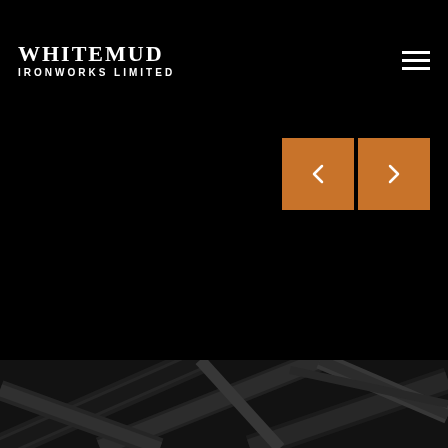WHITEMUD IRONWORKS LIMITED
[Figure (screenshot): Navigation arrows: left arrow and right arrow buttons in orange/brown square buttons on black background]
[Figure (photo): Dark photograph of steel ironwork beams and structural metal components, viewed from below at an angle, dark grey tones]